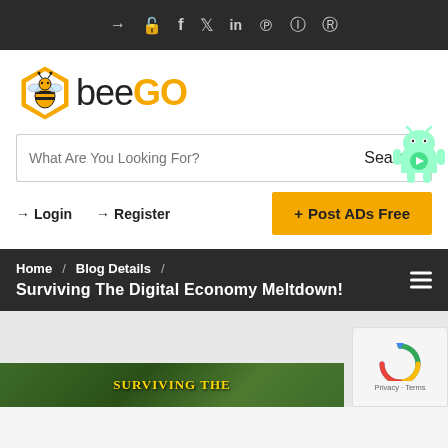Social icons: login, unlock, facebook, twitter, linkedin, pinterest, instagram, reddit
[Figure (logo): BeeGo logo with hexagon bee icon and text 'beeGO' where GO is in yellow/orange]
What Are You Looking For?
Search
Login  Register  + Post ADs Free
Home / Blog Details / Surviving The Digital Economy Meltdown!
[Figure (photo): Surviving The Digital Economy Meltdown book/article image with green background and gold text]